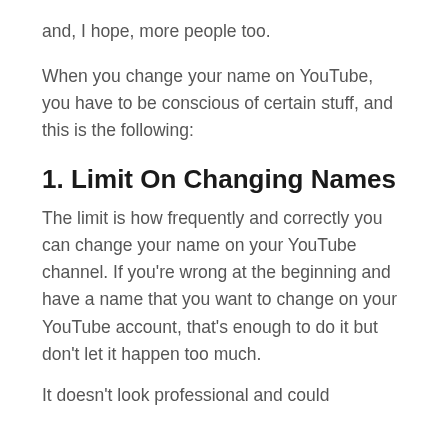and, I hope, more people too.
When you change your name on YouTube, you have to be conscious of certain stuff, and this is the following:
1. Limit On Changing Names
The limit is how frequently and correctly you can change your name on your YouTube channel. If you're wrong at the beginning and have a name that you want to change on your YouTube account, that's enough to do it but don't let it happen too much.
It doesn't look professional and could